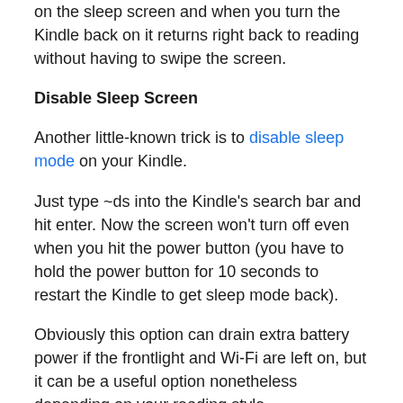on the sleep screen and when you turn the Kindle back on it returns right back to reading without having to swipe the screen.
Disable Sleep Screen
Another little-known trick is to disable sleep mode on your Kindle.
Just type ~ds into the Kindle's search bar and hit enter. Now the screen won't turn off even when you hit the power button (you have to hold the power button for 10 seconds to restart the Kindle to get sleep mode back).
Obviously this option can drain extra battery power if the frontlight and Wi-Fi are left on, but it can be a useful option nonetheless depending on your reading style.